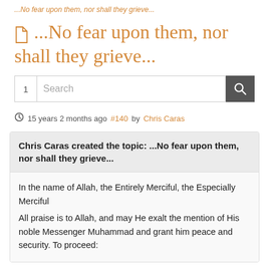...No fear upon them, nor shall they grieve...
...No fear upon them, nor shall they grieve...
1  Search
15 years 2 months ago #140 by Chris Caras
Chris Caras created the topic: ...No fear upon them, nor shall they grieve...
In the name of Allah, the Entirely Merciful, the Especially Merciful
All praise is to Allah, and may He exalt the mention of His noble Messenger Muhammad and grant him peace and security. To proceed: